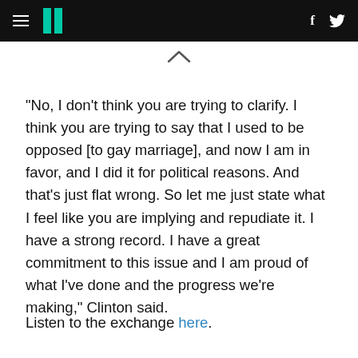HuffPost navigation header with hamburger menu, logo, Facebook and Twitter icons
"No, I don't think you are trying to clarify. I think you are trying to say that I used to be opposed [to gay marriage], and now I am in favor, and I did it for political reasons. And that's just flat wrong. So let me just state what I feel like you are implying and repudiate it. I have a strong record. I have a great commitment to this issue and I am proud of what I've done and the progress we're making," Clinton said.
Listen to the exchange here.